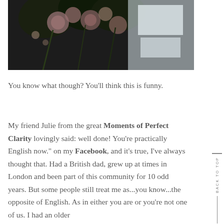[Figure (photo): Partial photo of dark flowers and foliage arrangement with light documents/paper in background, cropped at top of page]
You know what though? You'll think this is funny.
My friend Julie from the great Moments of Perfect Clarity lovingly said: well done! You're practically English now." on my Facebook, and it's true, I've always thought that. Had a British dad, grew up at times in London and been part of this community for 10 odd years. But some people still treat me as...you know...the opposite of English. As in either you are or you're not one of us. I had an older